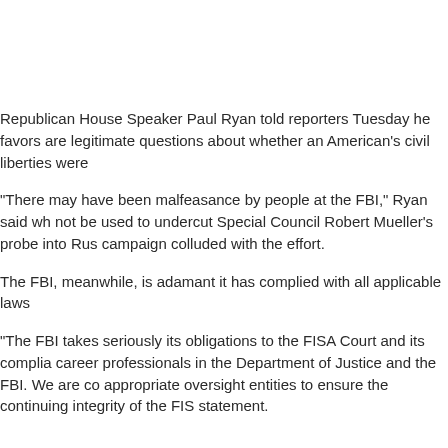Republican House Speaker Paul Ryan told reporters Tuesday he favors are legitimate questions about whether an American's civil liberties were
"There may have been malfeasance by people at the FBI," Ryan said wh not be used to undercut Special Council Robert Mueller's probe into Rus campaign colluded with the effort.
The FBI, meanwhile, is adamant it has complied with all applicable laws
"The FBI takes seriously its obligations to the FISA Court and its complia career professionals in the Department of Justice and the FBI. We are co appropriate oversight entities to ensure the continuing integrity of the FIS statement.